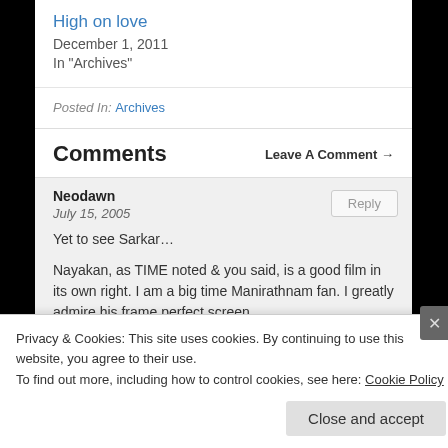High on love
December 1, 2011
In "Archives"
Posted In: Archives
Comments
Leave A Comment →
Neodawn
July 15, 2005
Yet to see Sarkar…
Nayakan, as TIME noted & you said, is a good film in its own right. I am a big time Manirathnam fan. I greatly admire his frame perfect screen
Privacy & Cookies: This site uses cookies. By continuing to use this website, you agree to their use.
To find out more, including how to control cookies, see here: Cookie Policy
Close and accept